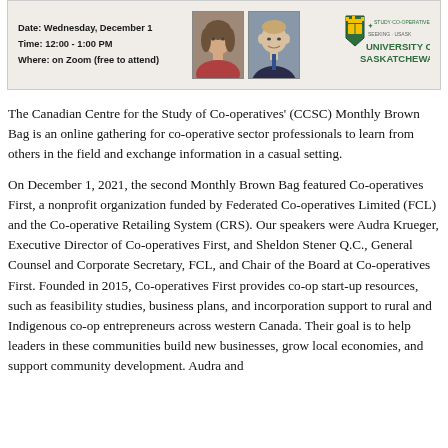[Figure (infographic): Banner image for CCSC Monthly Brown Bag event. Shows event details on left: Date: Wednesday, December 1, Time: 12:00–1:00 PM, Where: on Zoom (free to attend). Center shows headshot photos of two speakers. Right shows University of Saskatchewan logo with crest.]
The Canadian Centre for the Study of Co-operatives' (CCSC) Monthly Brown Bag is an online gathering for co-operative sector professionals to learn from others in the field and exchange information in a casual setting.
On December 1, 2021, the second Monthly Brown Bag featured Co-operatives First, a nonprofit organization funded by Federated Co-operatives Limited (FCL) and the Co-operative Retailing System (CRS). Our speakers were Audra Krueger, Executive Director of Co-operatives First, and Sheldon Stener Q.C., General Counsel and Corporate Secretary, FCL, and Chair of the Board at Co-operatives First. Founded in 2015, Co-operatives First provides co-op start-up resources, such as feasibility studies, business plans, and incorporation support to rural and Indigenous co-op entrepreneurs across western Canada. Their goal is to help leaders in these communities build new businesses, grow local economies, and support community development. Audra and